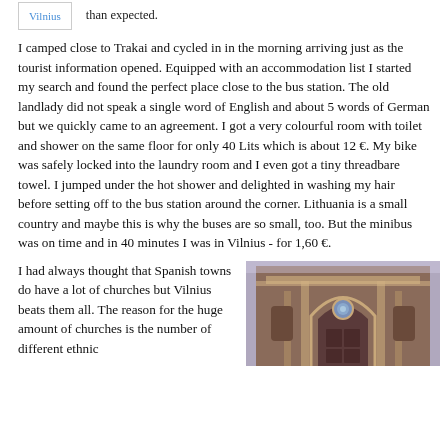Vilnius
than expected.
I camped close to Trakai and cycled in in the morning arriving just as the tourist information opened. Equipped with an accommodation list I started my search and found the perfect place close to the bus station. The old landlady did not speak a single word of English and about 5 words of German but we quickly came to an agreement. I got a very colourful room with toilet and shower on the same floor for only 40 Lits which is about 12 €. My bike was safely locked into the laundry room and I even got a tiny threadbare towel. I jumped under the hot shower and delighted in washing my hair before setting off to the bus station around the corner. Lithuania is a small country and maybe this is why the buses are so small, too. But the minibus was on time and in 40 minutes I was in Vilnius - for 1,60 €.
I had always thought that Spanish towns do have a lot of churches but Vilnius beats them all. The reason for the huge amount of churches is the number of different ethnic
[Figure (photo): Close-up photograph of an ornate church doorway/facade with arched entrance, decorative stonework, and circular window above the door]